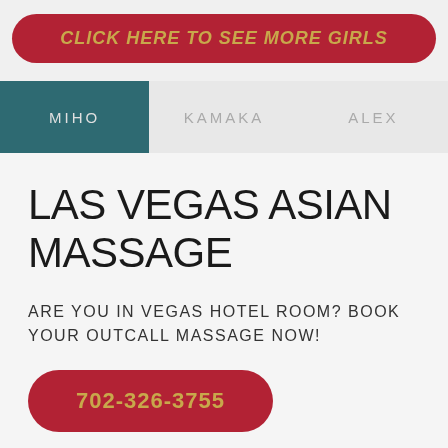CLICK HERE TO SEE MORE GIRLS
MIHO   KAMAKA   ALEX
LAS VEGAS ASIAN MASSAGE
ARE YOU IN VEGAS HOTEL ROOM? BOOK YOUR OUTCALL MASSAGE NOW!
702-326-3755